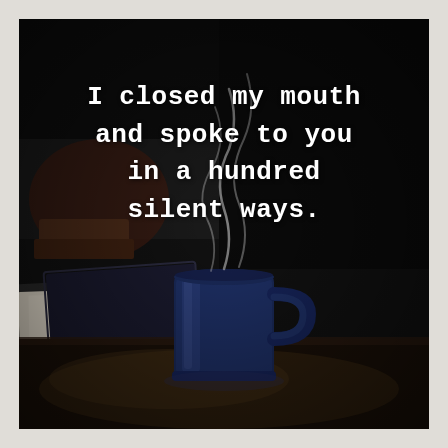[Figure (photo): Dark moody photograph of a desk scene with a navy blue coffee mug steaming in the center, papers and books in the background, dimly lit dark atmosphere. Overlaid white monospace text reads: 'I closed my mouth and spoke to you in a hundred silent ways.']